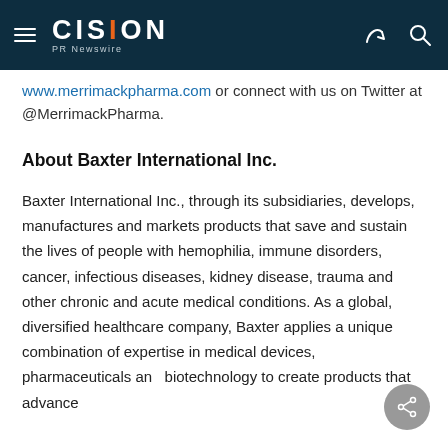CISION PR Newswire
www.merrimackpharma.com or connect with us on Twitter at @MerrimackPharma.
About Baxter International Inc.
Baxter International Inc., through its subsidiaries, develops, manufactures and markets products that save and sustain the lives of people with hemophilia, immune disorders, cancer, infectious diseases, kidney disease, trauma and other chronic and acute medical conditions. As a global, diversified healthcare company, Baxter applies a unique combination of expertise in medical devices, pharmaceuticals and biotechnology to create products that advance